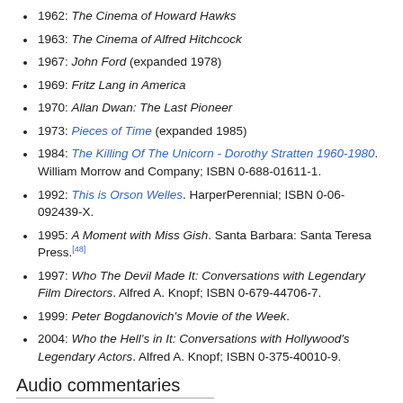1962: The Cinema of Howard Hawks
1963: The Cinema of Alfred Hitchcock
1967: John Ford (expanded 1978)
1969: Fritz Lang in America
1970: Allan Dwan: The Last Pioneer
1973: Pieces of Time (expanded 1985)
1984: The Killing Of The Unicorn - Dorothy Stratten 1960-1980. William Morrow and Company; ISBN 0-688-01611-1.
1992: This is Orson Welles. HarperPerennial; ISBN 0-06-092439-X.
1995: A Moment with Miss Gish. Santa Barbara: Santa Teresa Press.[48]
1997: Who The Devil Made It: Conversations with Legendary Film Directors. Alfred A. Knopf; ISBN 0-679-44706-7.
1999: Peter Bogdanovich's Movie of the Week.
2004: Who the Hell's in It: Conversations with Hollywood's Legendary Actors. Alfred A. Knopf; ISBN 0-375-40010-9.
Audio commentaries